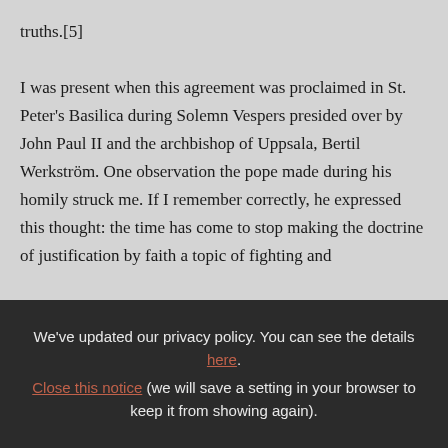truths.[5]

I was present when this agreement was proclaimed in St. Peter's Basilica during Solemn Vespers presided over by John Paul II and the archbishop of Uppsala, Bertil Werkström. One observation the pope made during his homily struck me. If I remember correctly, he expressed this thought: the time has come to stop making the doctrine of justification by faith a topic of fighting and
We've updated our privacy policy. You can see the details here. Close this notice (we will save a setting in your browser to keep it from showing again).